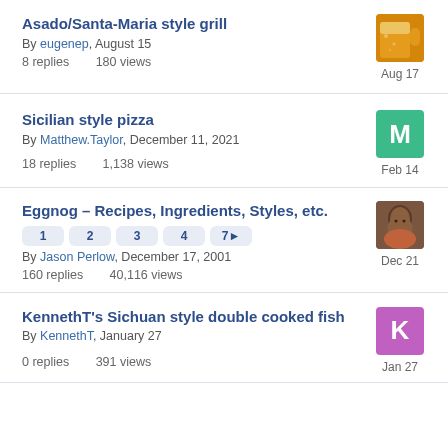Asado/Santa-Maria style grill – By eugenep, August 15 – 8 replies 180 views – Aug 17
Sicilian style pizza – By Matthew.Taylor, December 11, 2021 – 18 replies 1,138 views – Feb 14
Eggnog – Recipes, Ingredients, Styles, etc. – Pages: 1 2 3 4 7▶ – By Jason Perlow, December 17, 2001 – 160 replies 40,116 views – Dec 21
KennethT's Sichuan style double cooked fish – By KennethT, January 27 – 0 replies 391 views – Jan 27